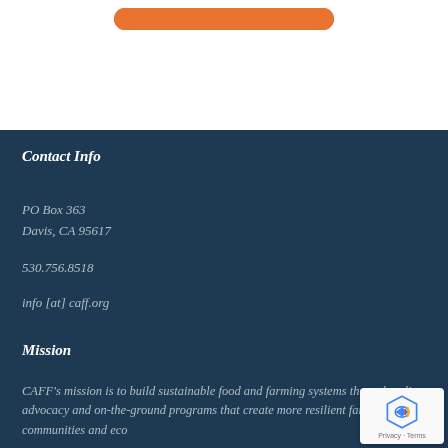[Figure (other): Orange rounded button at top of page]
Contact Info
PO Box 363
Davis, CA 95617
530.756.8518
info [at] caff.org
Mission
CAFF's mission is to build sustainable food and farming systems through policy advocacy and on-the-ground programs that create more resilient family farms, communities and eco...